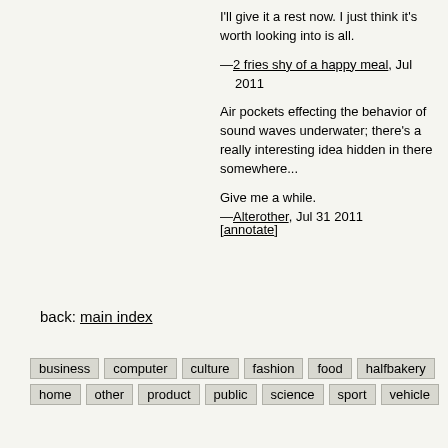I'll give it a rest now. I just think it's worth looking into is all.
—2 fries shy of a happy meal, Jul 2011
Air pockets effecting the behavior of sound waves underwater; there's a really interesting idea hidden in there somewhere...
Give me a while.
—Alterother, Jul 31 2011
[annotate]
back: main index
business  computer  culture  fashion  food  halfbakery  home  other  product  public  science  sport  vehicle